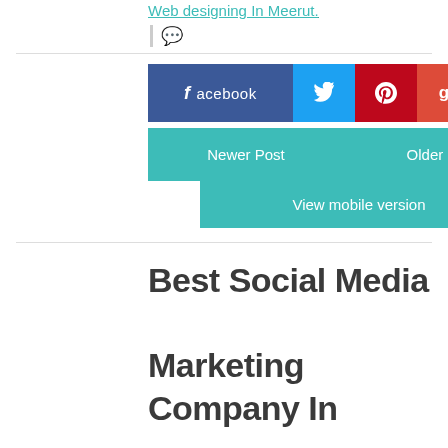Web designing In Meerut.
[Figure (infographic): Social share buttons: facebook, Twitter, Pinterest, Google+]
[Figure (infographic): Navigation buttons: Newer Post | Older Post, and View mobile version]
Best Social Media Marketing Company In Meerut, SMO SEO Web